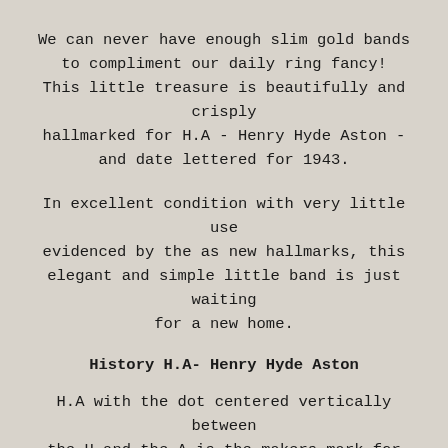We can never have enough slim gold bands to compliment our daily ring fancy! This little treasure is beautifully and crisply hallmarked for H.A - Henry Hyde Aston - and date lettered for 1943.
In excellent condition with very little use evidenced by the as new hallmarks, this elegant and simple little band is just waiting for a new home.
History H.A- Henry Hyde Aston
H.A with the dot centered vertically between the H and the A is the makers mark for Henry Hyde Aston. Henry registered his